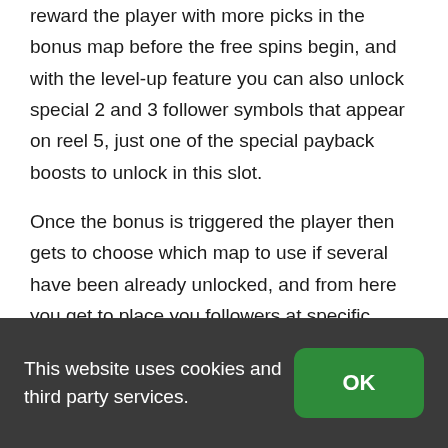reward the player with more picks in the bonus map before the free spins begin, and with the level-up feature you can also unlock special 2 and 3 follower symbols that appear on reel 5, just one of the special payback boosts to unlock in this slot.
Once the bonus is triggered the player then gets to choose which map to use if several have been already unlocked, and from here you get to place you followers at specific places on the
This website uses cookies and third party services.